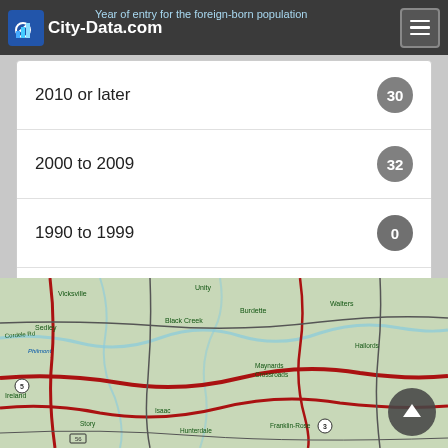City-Data.com — Year of entry for the foreign-born population
| Period | Count |
| --- | --- |
| 2010 or later | 30 |
| 2000 to 2009 | 32 |
| 1990 to 1999 | 0 |
| Before 1990 | 80 |
[Figure (map): Topographic road map showing rural area with towns including Vicksville, Unity, Sedley, Black Creek, Burdette, Walters, Maynards Crossroads, Hallords, Ireland, Story, Isaac, Hunterdale, Franklin-Rose, and other localities. Road network with highways and secondary roads shown.]